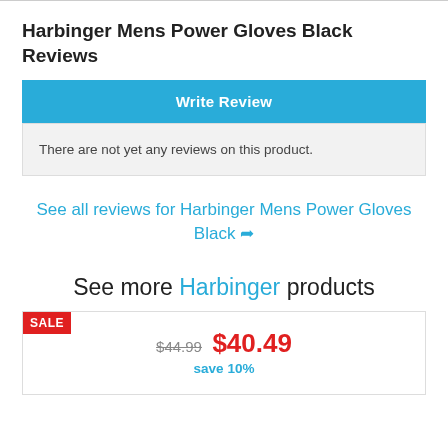Harbinger Mens Power Gloves Black Reviews
Write Review
There are not yet any reviews on this product.
See all reviews for Harbinger Mens Power Gloves Black
See more Harbinger products
SALE
$44.99 $40.49
save 10%